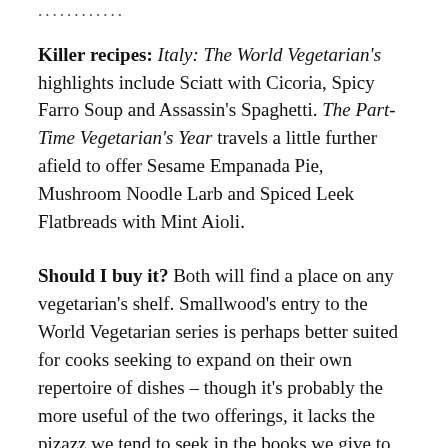…………………………
Killer recipes: Italy: The World Vegetarian's highlights include Sciatt with Cicoria, Spicy Farro Soup and Assassin's Spaghetti. The Part-Time Vegetarian's Year travels a little further afield to offer Sesame Empanada Pie, Mushroom Noodle Larb and Spiced Leek Flatbreads with Mint Aioli.
Should I buy it? Both will find a place on any vegetarian's shelf. Smallwood's entry to the World Vegetarian series is perhaps better suited for cooks seeking to expand on their own repertoire of dishes – though it's probably the more useful of the two offerings, it lacks the pizazz we tend to seek in the books we give to others. The Part-Time Vegetarian's Year, however, has exactly that. It's accessible and fun – and the flexitarian element means it will be equally loved by both vegetarians and those looking